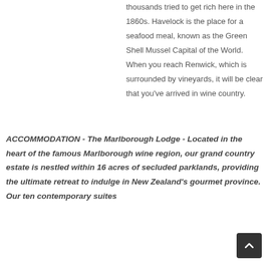thousands tried to get rich here in the 1860s. Havelock is the place for a seafood meal, known as the Green Shell Mussel Capital of the World. When you reach Renwick, which is surrounded by vineyards, it will be clear that you've arrived in wine country.
ACCOMMODATION - The Marlborough Lodge - Located in the heart of the famous Marlborough wine region, our grand country estate is nestled within 16 acres of secluded parklands, providing the ultimate retreat to indulge in New Zealand's gourmet province. Our ten contemporary suites